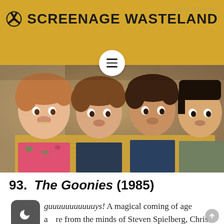☢ SCREENAGE WASTELAND
[Figure (photo): Four young boys (the Goonies cast) peering over a treasure map, from the 1985 film The Goonies]
93. The Goonies (1985)
Hey you guuuuuuuuuuuys! A magical coming of age adventure from the minds of Steven Spielberg, Chris Columbus and Richard Donnor, The Goonies is Indiana